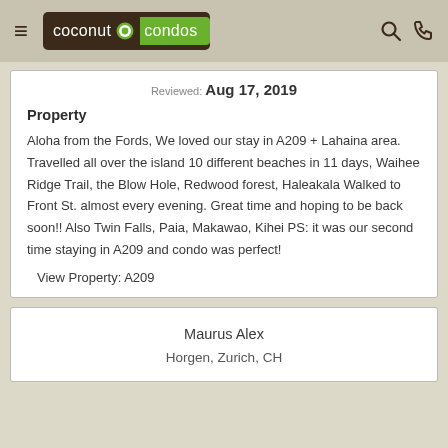coconut condos
Reviewed: Aug 17, 2019
Property
Aloha from the Fords, We loved our stay in A209 + Lahaina area. Travelled all over the island 10 different beaches in 11 days, Waihee Ridge Trail, the Blow Hole, Redwood forest, Haleakala Walked to Front St. almost every evening. Great time and hoping to be back soon!! Also Twin Falls, Paia, Makawao, Kihei PS: it was our second time staying in A209 and condo was perfect!
View Property: A209
Maurus Alex
Horgen, Zurich, CH